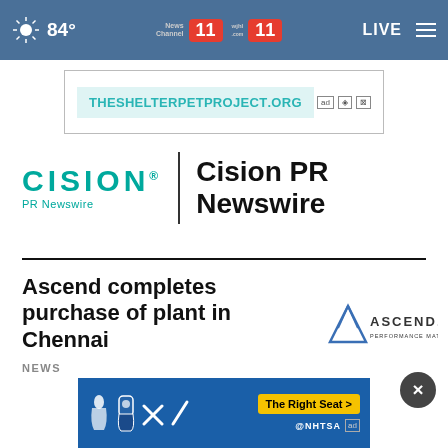84° News Channel 11 wjhl.com 11 LIVE
[Figure (other): Advertisement banner: THESHELTERPETPROJECT.ORG]
[Figure (logo): Cision PR Newswire logo with wordmark and divider]
Cision PR Newswire
Ascend completes purchase of plant in Chennai
[Figure (logo): Ascend Performance Materials logo]
NEWS
[Figure (other): Bottom advertisement banner with car seat safety icons, The Right Seat button, and NHTSA logo]